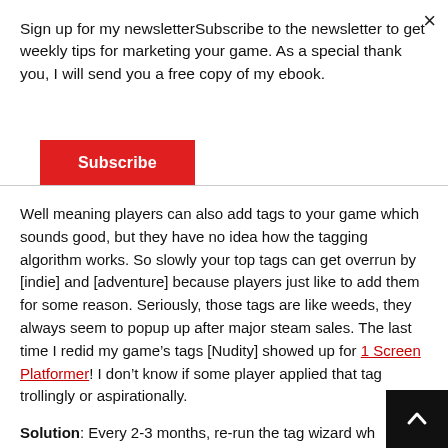Sign up for my newsletterSubscribe to the newsletter to get weekly tips for marketing your game. As a special thank you, I will send you a free copy of my ebook.
Subscribe
Well meaning players can also add tags to your game which sounds good, but they have no idea how the tagging algorithm works. So slowly your top tags can get overrun by [indie] and [adventure] because players just like to add them for some reason. Seriously, those tags are like weeds, they always seem to popup up after major steam sales. The last time I redid my game’s tags [Nudity] showed up for 1 Screen Platformer! I don’t know if some player applied that tag trollingly or aspirationally.
Solution: Every 2-3 months, re-run the tag wizard wh… let you see the latest tags and also give you a chance to